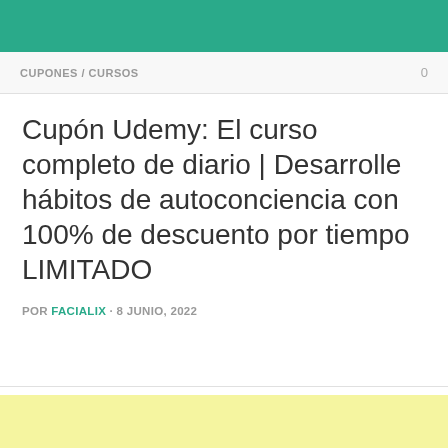CUPONES / CURSOS
Cupón Udemy: El curso completo de diario | Desarrolle hábitos de autoconciencia con 100% de descuento por tiempo LIMITADO
POR FACIALIX · 8 JUNIO, 2022